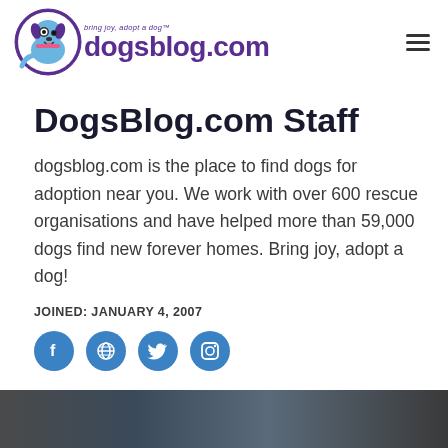dogsblog.com — bring joy, adopt a dog
DogsBlog.com Staff
dogsblog.com is the place to find dogs for adoption near you. We work with over 600 rescue organisations and have helped more than 59,000 dogs find new forever homes. Bring joy, adopt a dog!
JOINED: JANUARY 4, 2007
[Figure (other): Social media icon buttons: Facebook, Globe/Website, Twitter, Instagram — blue circular icons]
[Figure (photo): Partial photo at bottom of page, appears to be a dark blurry outdoor image]